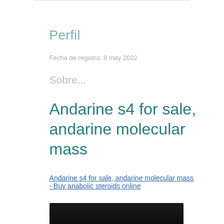Perfil
Fecha de registro: 8 may 2022
Sobre...
Andarine s4 for sale, andarine molecular mass
Andarine s4 for sale, andarine molecular mass - Buy anabolic steroids online
[Figure (photo): Dark image partially visible at bottom of page]